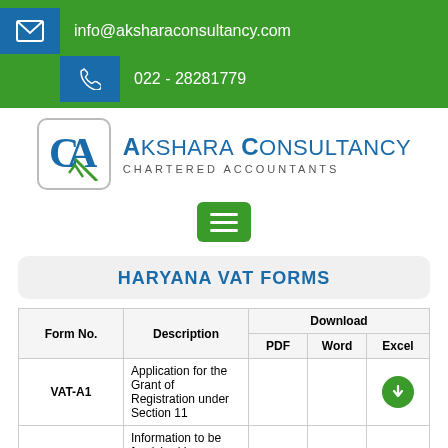info@aksharaconsultancy.com
022 - 28281779
[Figure (logo): Akshara Consultancy CA logo with chartered accountants branding]
HARYANA VAT FORMS
| Form No. | Description | Download: PDF | Download: Word | Download: Excel |
| --- | --- | --- | --- | --- |
| VAT-A1 | Application for the Grant of Registration under Section 11 |  |  | ↑ |
| VAT-A2 | Information to be furnished by a dealer registered under the Act |  |  |  |